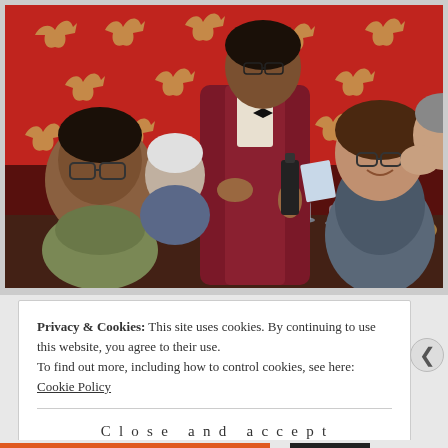[Figure (photo): A restaurant scene with a waiter in a dark red/maroon jacket holding a wine bottle, speaking to seated diners. The background wall is bright red with a repeating pattern of golden leaping deer/horses. Multiple diners are visible including a woman with glasses smiling, and a man with glasses in the foreground. The table has wine glasses, water glasses, and food.]
Privacy & Cookies: This site uses cookies. By continuing to use this website, you agree to their use.
To find out more, including how to control cookies, see here: Cookie Policy
Close and accept